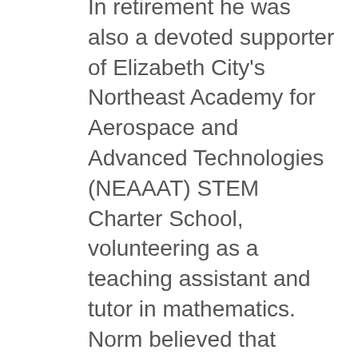In retirement he was also a devoted supporter of Elizabeth City's Northeast Academy for Aerospace and Advanced Technologies (NEAAAT) STEM Charter School, volunteering as a teaching assistant and tutor in mathematics. Norm believed that these young people are our future, and that we (The Coast Guard Aviation Community at Large) have a responsibility to ensure they are aware of, and exposed to, the wonderful opportunities associated with Coast Guard Aviation and Please Sta...